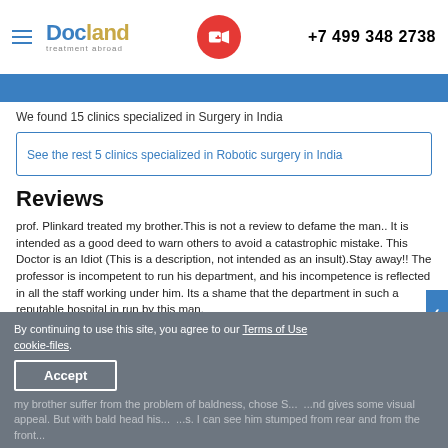Docland treatment abroad | +7 499 348 2738
We found 15 clinics specialized in Surgery in India
See the rest 5 clinics specialized in Robotic surgery in India
Reviews
prof. Plinkard treated my brother.This is not a review to defame the man.. It is intended as a good deed to warn others to avoid a catastrophic mistake. This Doctor is an Idiot (This is a description, not intended as an insult).Stay away!! The professor is incompetent to run his department, and his incompetence is reflected in all the staff working under him. Its a shame that the department in such a reputable hospital in run by this man.
By continuing to use this site, you agree to our Terms of Use cookie-files.
Accept
my brother suffer from the problem of baldness, chose S... ...nd gives some visual appeal. But with bald head his... ...s. I can see him stumped from rear and from the front...